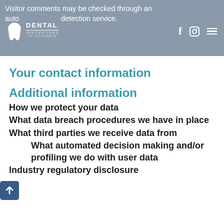Visitor comments may be checked through an automated spam detection service.
Your contact information
Additional information
How we protect your data
What data breach procedures we have in place
What third parties we receive data from
What automated decision making and/or profiling we do with user data
Industry regulatory disclosure